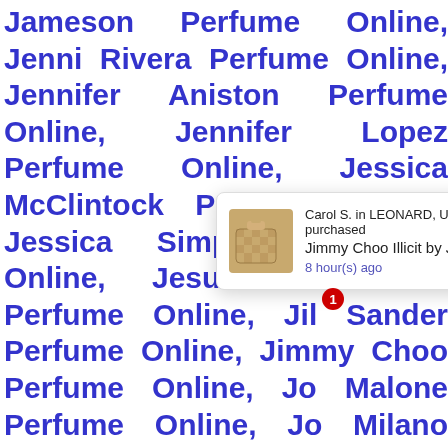Jameson Perfume Online, Jenni Rivera Perfume Online, Jennifer Aniston Perfume Online, Jennifer Lopez Perfume Online, Jessica McClintock Perfume Online, Jessica Simpson Perfume Online, Jesus Del Pozo Perfume Online, Jil Sander Perfume Online, Jimmy Choo Perfume Online, Jo Malone Perfume Online, Jo Milano Perfume Online, Joan Vass Perfume Online, Jockey International Perfume Online, Joe Sorrento Perfume Online, Joe Winn Perfume Online, Johan B Perfume Online, Jojo Perfume Online, Joraan Outdoor Perfume Online, Joseph Jivago Perfume Online, Joseph Price Perfu...
[Figure (other): Popup notification showing: Carol S. in LEONARD, United States purchased Jimmy Choo Illicit by Jim... 8 hour(s) ago, with a product image of a perfume bottle, a close (X) button, and a red badge with number 1.]